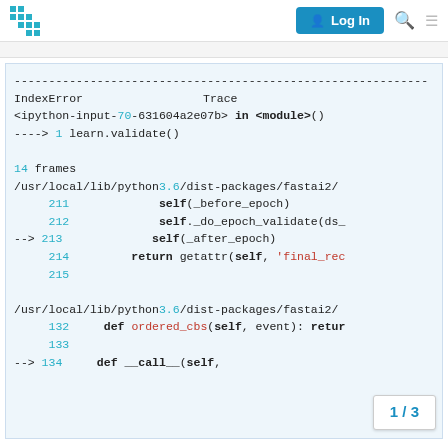Forum navigation bar with logo, Log In button, search and menu icons
Breadcrumb navigation strip
Code traceback:
------------------------------------------------------------
IndexError                                Traceback
<ipython-input-70-631604a2e07b> in <module>()
----> 1 learn.validate()

14 frames
/usr/local/lib/python3.6/dist-packages/fastai2/
     211         self(_before_epoch)
     212         self._do_epoch_validate(ds_
 --> 213         self(_after_epoch)
     214     return getattr(self, 'final_rec
     215

/usr/local/lib/python3.6/dist-packages/fastai2/
     132     def ordered_cbs(self, event): retur
     133
 --> 134     def __call__(self,
1 / 3